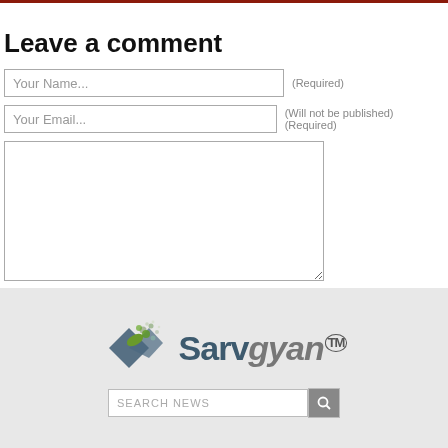Leave a comment
Your Name... (Required)
Your Email... (Will not be published) (Required)
[Figure (logo): Sarvgyan logo with geometric icon and TM mark]
SEARCH NEWS